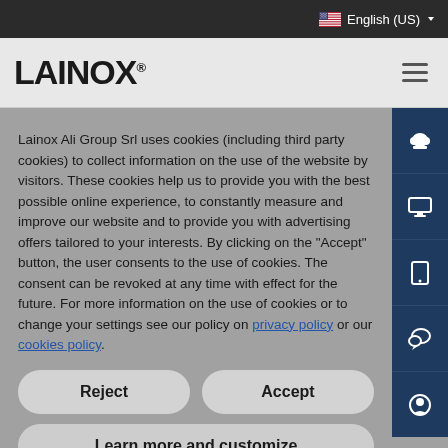English (US)
LAINOX
Lainox Ali Group Srl uses cookies (including third party cookies) to collect information on the use of the website by visitors. These cookies help us to provide you with the best possible online experience, to constantly measure and improve our website and to provide you with advertising offers tailored to your interests. By clicking on the "Accept" button, the user consents to the use of cookies. The consent can be revoked at any time with effect for the future. For more information on the use of cookies or to change your settings see our policy on privacy policy or our cookies policy.
Reject
Accept
Learn more and customize